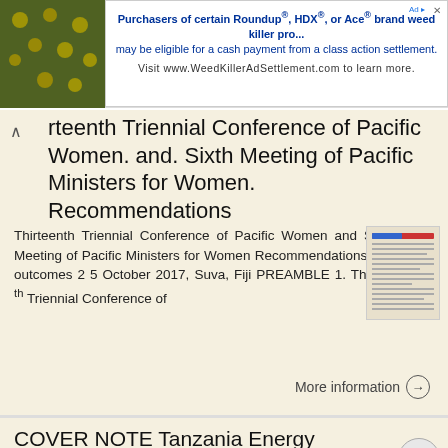[Figure (screenshot): Advertisement banner for WeedKillerAdSettlement.com showing yellow flowers on left and ad text on right]
rteenth Triennial Conference of Pacific Women. and. Sixth Meeting of Pacific Ministers for Women. Recommendations
Thirteenth Triennial Conference of Pacific Women and Sixth Meeting of Pacific Ministers for Women Recommendations and outcomes 2 5 October 2017, Suva, Fiji PREAMBLE 1. The 13 th Triennial Conference of
More information →
COVER NOTE Tanzania Energy Development and Access Project (TEDAP) Safeguard Documents
Public Disclosure Authorized Public Disclosure Authorized Public Disclosure